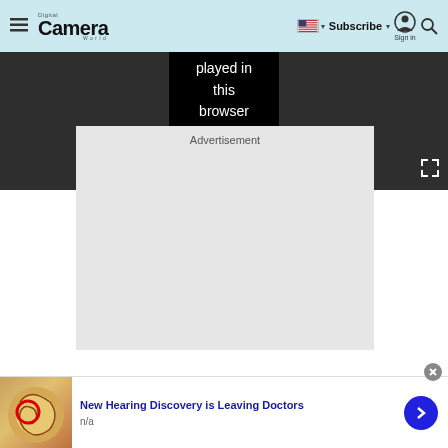[Figure (screenshot): Digital Camera World website navigation bar with hamburger menu, logo, US flag, Subscribe button, Sign in icon, and search icon on light blue background]
[Figure (screenshot): Dark video player area showing text 'played in this browser' with fullscreen button]
Advertisement
[Figure (screenshot): Empty grey advertisement placeholder area]
[Figure (screenshot): Bottom advertisement banner: ear anatomy illustration with red circle, headline 'New Hearing Discovery is Leaving Doctors', subtext 'n/a', blue arrow button, and close button]